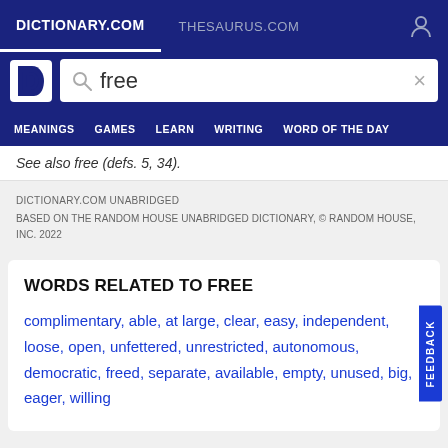DICTIONARY.COM   THESAURUS.COM
[Figure (screenshot): Dictionary.com logo with letter D]
free
MEANINGS   GAMES   LEARN   WRITING   WORD OF THE DAY
See also free (defs. 5, 34).
DICTIONARY.COM UNABRIDGED
BASED ON THE RANDOM HOUSE UNABRIDGED DICTIONARY, © RANDOM HOUSE, INC. 2022
WORDS RELATED TO FREE
complimentary, able, at large, clear, easy, independent, loose, open, unfettered, unrestricted, autonomous, democratic, freed, separate, available, empty, unused, big, eager, willing